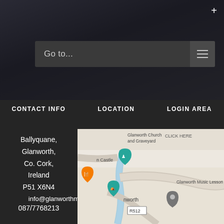Go to...
CONTACT INFO
LOCATION
LOGIN AREA
Ballyquane, Glanworth, Co. Cork, Ireland P51 X6N4
info@glanworthm
087/7768213
[Figure (map): Google Maps screenshot showing Glanworth area in Cork, Ireland. Shows Glanworth Church and Graveyard, a Castle marker, Glanworth village, R512 road sign, a river, and Glanworth Music Lessons location pin. Teal/blue color scheme for water features.]